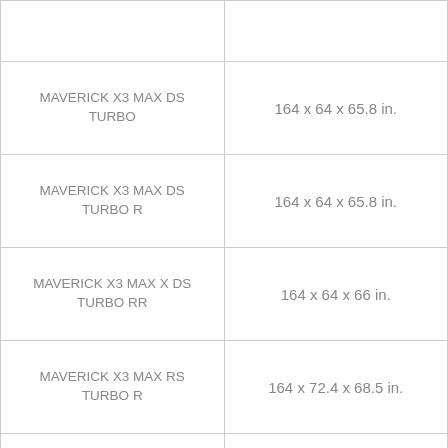| Model | Dimensions |
| --- | --- |
|  |  |
| MAVERICK X3 MAX DS TURBO | 164 x 64 x 65.8 in. |
| MAVERICK X3 MAX DS TURBO R | 164 x 64 x 65.8 in. |
| MAVERICK X3 MAX X DS TURBO RR | 164 x 64 x 66 in. |
| MAVERICK X3 MAX RS TURBO R | 164 x 72.4 x 68.5 in. |
| MAVERICK X3 MAX X RS TURBO RR | 165 x 72.7 x 68.5 in. |
|  |  |